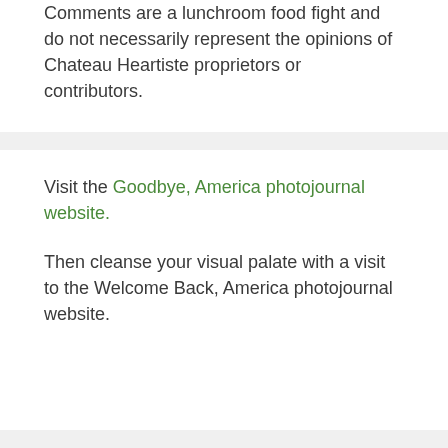Comments are a lunchroom food fight and do not necessarily represent the opinions of Chateau Heartiste proprietors or contributors.
Visit the Goodbye, America photojournal website.
Then cleanse your visual palate with a visit to the Welcome Back, America photojournal website.